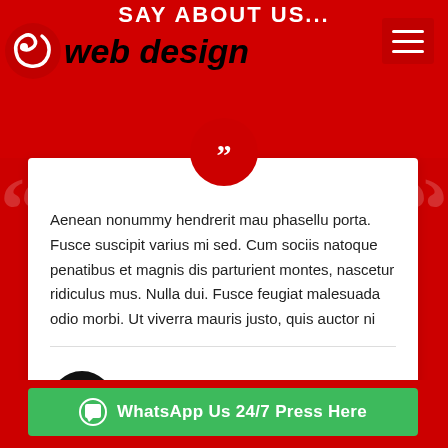SAY ABOUT US...
web design
Aenean nonummy hendrerit mau phasellu porta. Fusce suscipit varius mi sed. Cum sociis natoque penatibus et magnis dis parturient montes, nascetur ridiculus mus. Nulla dui. Fusce feugiat malesuada odio morbi. Ut viverra mauris justo, quis auctor ni
HELEN TOMPSON
MANAGER
WhatsApp Us 24/7 Press Here